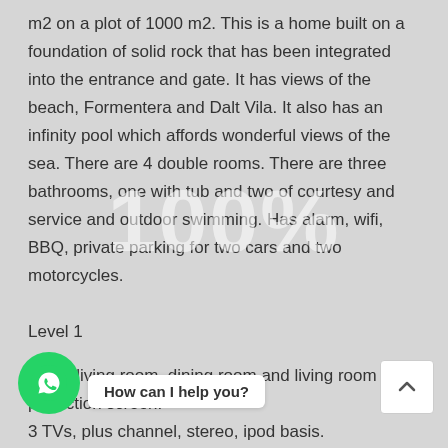m2 on a plot of 1000 m2. This is a home built on a foundation of solid rock that has been integrated into the entrance and gate. It has views of the beach, Formentera and Dalt Vila. It also has an infinity pool which affords wonderful views of the sea. There are 4 double rooms. There are three bathrooms, one with tub and two of courtesy and service and outdoor swimming. Has alarm, wifi, BBQ, private parking for two cars and two motorcycles.
Level 1
Large living room, dining room and living room with projection screen.
3 TVs, plus channel, stereo, ipod basis.
ge fully equipped.
antry and laundry.
Terrace dining deck.